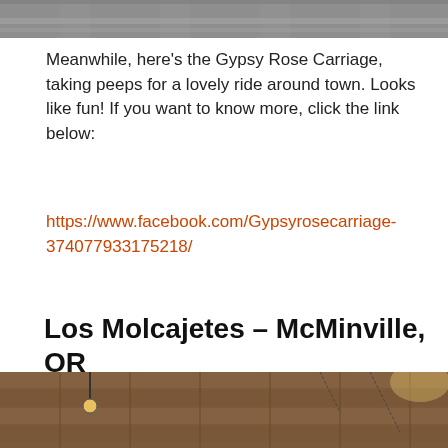[Figure (photo): Top cropped photo showing a street scene, partially visible at the top of the page]
Meanwhile, here’s the Gypsy Rose Carriage, taking peeps for a lovely ride around town. Looks like fun! If you want to know more, click the link below:
https://www.facebook.com/Gypsyrosecarriage-374077933175218/
Los Molcajetes – McMinville, OR
January 16, 2022   2022, Food, Wine Country Taco Tour   steve
[Figure (photo): Bottom cropped photo showing a brick wall with hanging lights, partially visible at the bottom of the page]